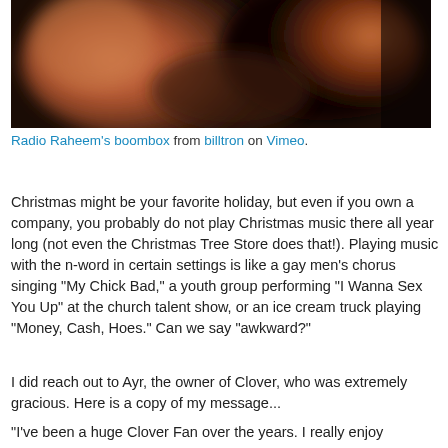[Figure (photo): Blurred warm-toned photo, dark background with orange/amber tones, appears to be a dimly lit scene possibly of a person or object, out of focus]
Radio Raheem's boombox from billtron on Vimeo.
Christmas might be your favorite holiday, but even if you own a company, you probably do not play Christmas music there all year long (not even the Christmas Tree Store does that!). Playing music with the n-word in certain settings is like a gay men's chorus singing “My Chick Bad,” a youth group performing “I Wanna Sex You Up” at the church talent show, or an ice cream truck playing “Money, Cash, Hoes.” Can we say “awkward?”
I did reach out to Ayr, the owner of Clover, who was extremely gracious. Here is a copy of my message...
“I’ve been a huge Clover Fan over the years. I really enjoy